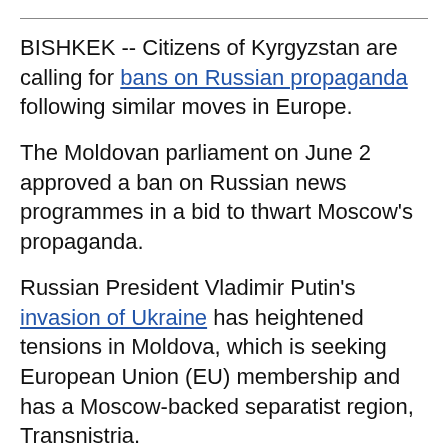BISHKEK -- Citizens of Kyrgyzstan are calling for bans on Russian propaganda following similar moves in Europe.
The Moldovan parliament on June 2 approved a ban on Russian news programmes in a bid to thwart Moscow's propaganda.
Russian President Vladimir Putin's invasion of Ukraine has heightened tensions in Moldova, which is seeking European Union (EU) membership and has a Moscow-backed separatist region, Transnistria.
Moldovan authorities actually blocked Russian news broadcasts right after the February 24 invasion, but parliament on June 2 gave its